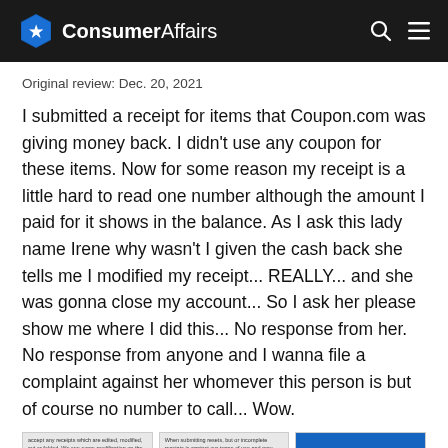ConsumerAffairs
Original review: Dec. 20, 2021
I submitted a receipt for items that Coupon.com was giving money back. I didn't use any coupon for these items. Now for some reason my receipt is a little hard to read one number although the amount I paid for it shows in the balance. As I ask this lady name Irene why wasn't I given the cash back she tells me I modified my receipt... REALLY... and she was gonna close my account... So I ask her please show me where I did this... No response from her. No response from anyone and I wanna file a complaint against her whomever this person is but of course no number to call... Wow.
[Figure (screenshot): Three screenshot thumbnails of chat/message exchanges related to the review complaint]